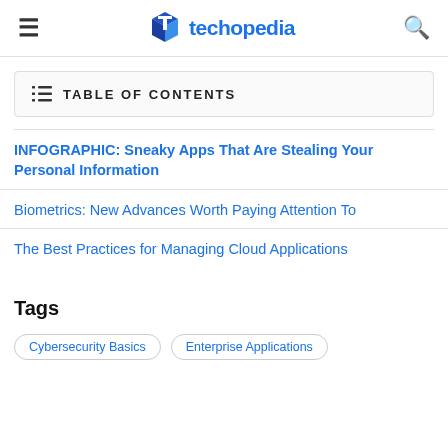techopedia
TABLE OF CONTENTS
INFOGRAPHIC: Sneaky Apps That Are Stealing Your Personal Information
Biometrics: New Advances Worth Paying Attention To
The Best Practices for Managing Cloud Applications
Tags